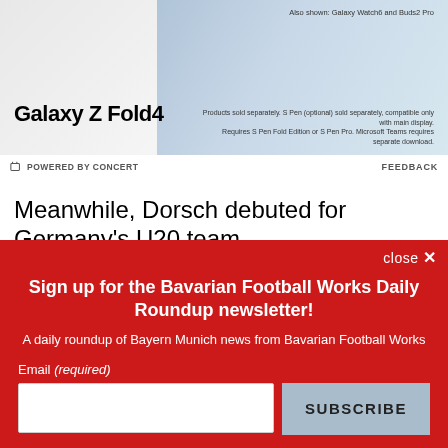[Figure (photo): Samsung Galaxy Z Fold4 advertisement banner showing the device alongside Galaxy Watch6 and Buds2 Pro on a light blue/grey background]
POWERED BY CONCERT
FEEDBACK
Meanwhile, Dorsch debuted for Germany's U20 team
close ✕
Sign up for the Bavarian Football Works Daily Roundup newsletter!
A daily roundup of Bayern Munich news from Bavarian Football Works
Email (required)
SUBSCRIBE
By submitting your email, you agree to our Terms and Privacy Notice. You can opt out at any time. This site is protected by reCAPTCHA and the Google Privacy Policy and Terms of Service apply.